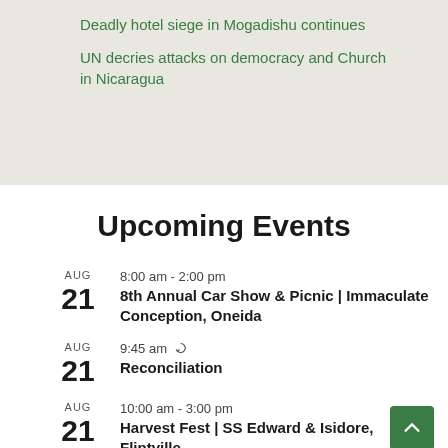Deadly hotel siege in Mogadishu continues
UN decries attacks on democracy and Church in Nicaragua
Upcoming Events
AUG 21 | 8:00 am - 2:00 pm | 8th Annual Car Show & Picnic | Immaculate Conception, Oneida
AUG 21 | 9:45 am (recurring) | Reconciliation
AUG 21 | 10:00 am - 3:00 pm | Harvest Fest | SS Edward & Isidore, Flintville
AUG 21 | 11:00 am - 12:00 pm (recurring)